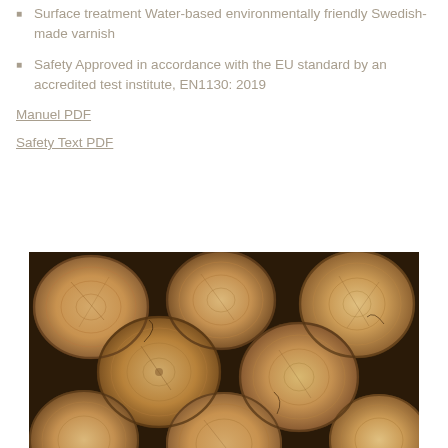Surface treatment Water-based environmentally friendly Swedish-made varnish
Safety Approved in accordance with the EU standard by an accredited test institute, EN1130: 2019
Manuel PDF
Safety Text PDF
[Figure (photo): Cross-section view of stacked wooden logs showing wood grain and rings, photographed from above]